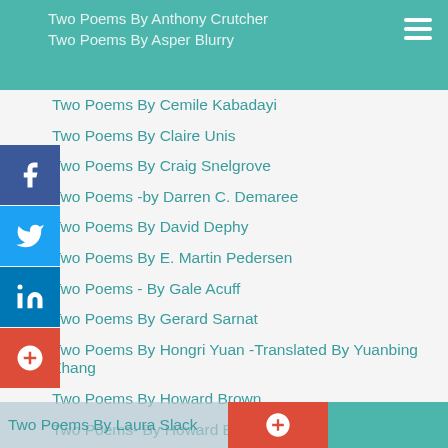Two Poems By Anthony Crutcher
Two Poems By Asper Blurry
Two Poems By Cemile Kabadayi
Two Poems By Claire Unis
Two Poems By Craig Snelgrove
Two Poems -by Darren C. Demaree
Two Poems By David Dephy
Two Poems By E. Martin Pedersen
Two Poems - By Gale Acuff
Two Poems By Gerard Sarnat
Two Poems By Hongri Yuan -Translated By Yuanbing Zhang
Two Poems By Howard Brown
Two Poems- By Howard Brown
Two Poems By Jacqueline Jules
Two Poems- By Jeevan Bhagwat
Two Poems By Jeri Thompson
Two Poems- By Joe Lynch
Two Poems By Keziah Spaine
Two Poems By Kirsty A. Niven
Two Poems-by Kristy Keller
Two Poems By Laura Slack